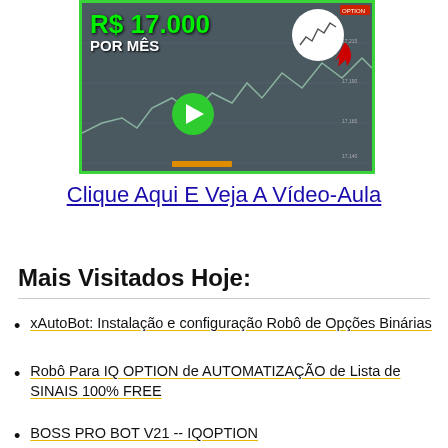[Figure (screenshot): Video thumbnail showing trading chart with text 'R$ 17.000 POR MÊS' in green letters, a green play button, and a cursor graphic. Green border around the dark trading chart background.]
Clique Aqui E Veja A Vídeo-Aula
Mais Visitados Hoje:
xAutoBot: Instalação e configuração Robô de Opções Binárias
Robô Para IQ OPTION de AUTOMATIZAÇÃO de Lista de SINAIS 100% FREE
BOSS PRO BOT V21 -- IQOPTION